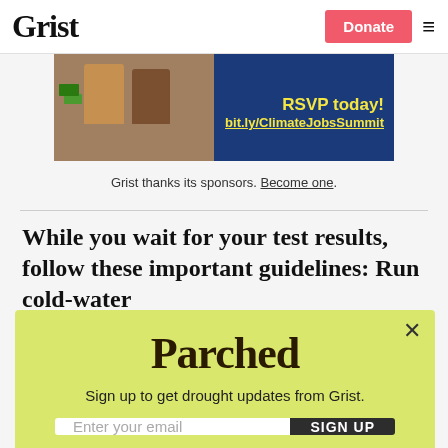Grist
[Figure (photo): Advertisement banner showing workers and climate jobs summit text with RSVP today and bit.ly/ClimateJobsSummit URL on blue background]
Grist thanks its sponsors. Become one.
While you wait for your test results, follow these important guidelines: Run cold-water
[Figure (screenshot): Parchea newsletter signup modal with yellow-green background, Parchea title, subtitle 'Sign up to get drought updates from Grist.', email input field, SIGN UP button, and No thanks link]